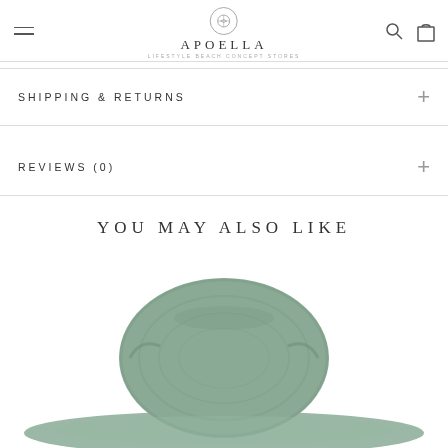APOELLA — LIFESTYLE BEACH CONCEPT STORES
SHIPPING & RETURNS
REVIEWS (0)
YOU MAY ALSO LIKE
[Figure (photo): A sage/mint green wide-brim woven straw hat, partially visible at the bottom of the page]